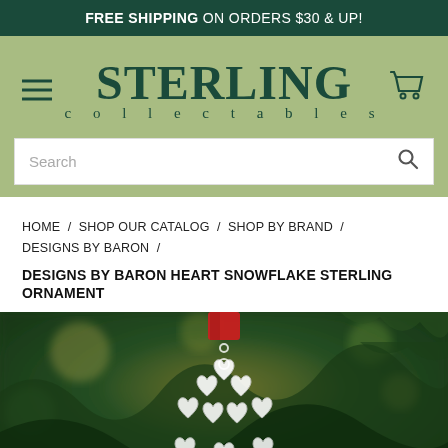FREE SHIPPING ON ORDERS $30 & UP!
[Figure (logo): Sterling Collectables logo with hamburger menu and cart icon on sage green background]
Search
HOME / SHOP OUR CATALOG / SHOP BY BRAND / DESIGNS BY BARON /
DESIGNS BY BARON HEART SNOWFLAKE STERLING ORNAMENT
[Figure (photo): Close-up photo of a silver heart snowflake ornament hanging from a red ribbon on a Christmas tree with blurred green pine branches in background]